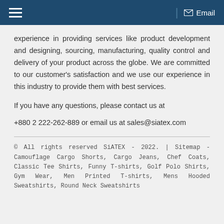≡   | Email
experience in providing services like product development and designing, sourcing, manufacturing, quality control and delivery of your product across the globe. We are committed to our customer's satisfaction and we use our experience in this industry to provide them with best services.
If you have any questions, please contact us at
+880 2 222-262-889 or email us at sales@siatex.com
© All rights reserved SiATEX - 2022. | Sitemap - Camouflage Cargo Shorts, Cargo Jeans, Chef Coats, Classic Tee Shirts, Funny T-shirts, Golf Polo Shirts, Gym Wear, Men Printed T-shirts, Mens Hooded Sweatshirts, Round Neck Sweatshirts